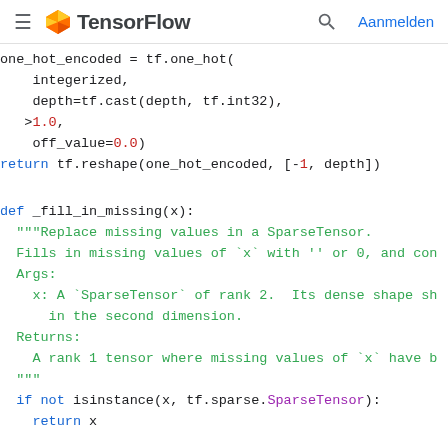TensorFlow — Aanmelden
Code snippet showing one_hot_encoded = tf.one_hot(...) with integerized, depth=tf.cast(depth, tf.int32), on_value=1.0, off_value=0.0, return tf.reshape(one_hot_encoded, [-1, depth])
def _fill_in_missing(x): """Replace missing values in a SparseTensor. Fills in missing values of `x` with '' or 0, and con... Args: x: A `SparseTensor` of rank 2. Its dense shape sh... in the second dimension. Returns: A rank 1 tensor where missing values of `x` have b... """ if not isinstance(x, tf.sparse.SparseTensor): return x default_value = '' if x.dtype == tf.string else 0